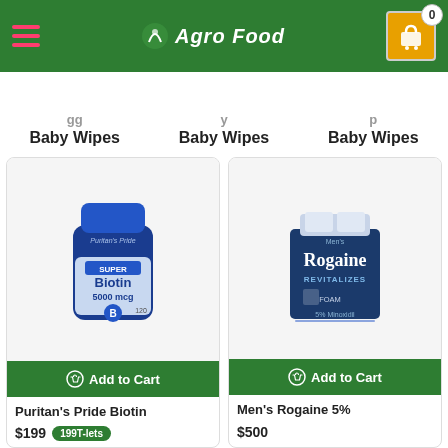Agro Food
Baby Wipes  Baby Wipes  Baby Wipes
[Figure (photo): Puritan's Pride Biotin 5000 mcg supplement bottle (blue plastic bottle)]
Add to Cart
Puritan's Pride Biotin
$199
[Figure (photo): Men's Rogaine 5% Minoxidil Foam hair regrowth treatment box (blue and white packaging)]
Add to Cart
Men's Rogaine 5%
$500